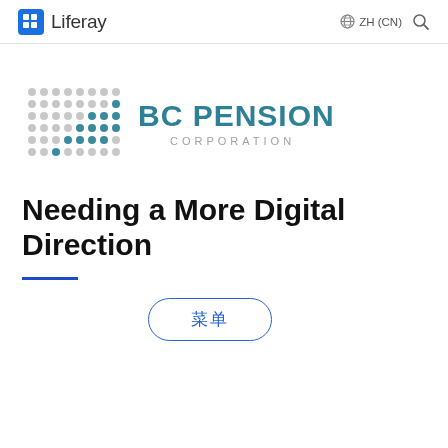Liferay  ZH (CN)
[Figure (logo): BC Pension Corporation logo with teal and gray dot pattern and teal text]
Needing a More Digital Direction
菜单